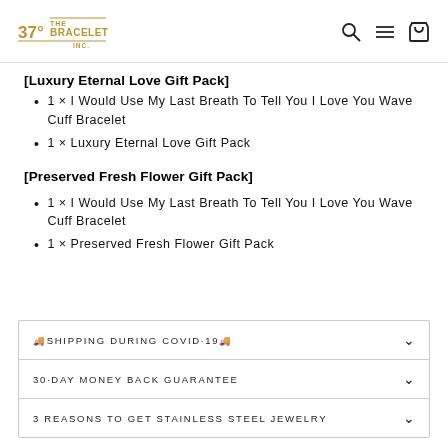THE 37° BRACELET INC.
[Luxury Eternal Love Gift Pack]
1 × I Would Use My Last Breath To Tell You I Love You Wave Cuff Bracelet
1 × Luxury Eternal Love Gift Pack
[Preserved Fresh Flower Gift Pack]
1 × I Would Use My Last Breath To Tell You I Love You Wave Cuff Bracelet
1 × Preserved Fresh Flower Gift Pack
🚚SHIPPING DURING COVID·19🚚
30·DAY MONEY BACK GUARANTEE
3 REASONS TO GET STAINLESS STEEL JEWELRY